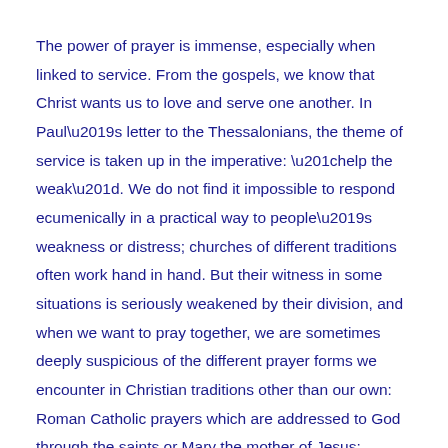The power of prayer is immense, especially when linked to service. From the gospels, we know that Christ wants us to love and serve one another. In Paul’s letter to the Thessalonians, the theme of service is taken up in the imperative: “help the weak”. We do not find it impossible to respond ecumenically in a practical way to people’s weakness or distress; churches of different traditions often work hand in hand. But their witness in some situations is seriously weakened by their division, and when we want to pray together, we are sometimes deeply suspicious of the different prayer forms we encounter in Christian traditions other than our own: Roman Catholic prayers which are addressed to God through the saints or Mary the mother of Jesus; Orthodox liturgical prayers; Pentecostal prayers; the spontaneous, Protestant prayers which address God in direct, everyday language.
There are signs however of a new consideration of different forms of prayer. Within American churches, the experience of Pentecostal